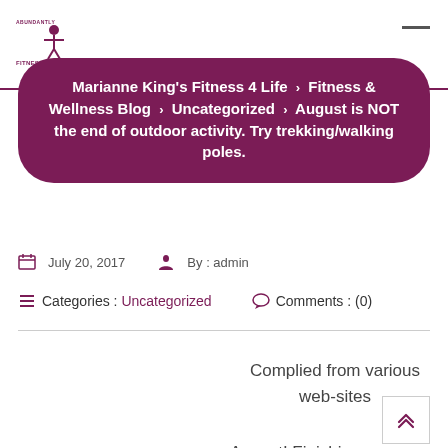Fitness For Life logo and navigation
Marianne King's Fitness 4 Life > Fitness & Wellness Blog > Uncategorized > August is NOT the end of outdoor activity. Try trekking/walking poles.
July 20, 2017   By : admin
Categories : Uncategorized   Comments : (0)
Complied from various web-sites
August! Finishing vacations... some go back to school...